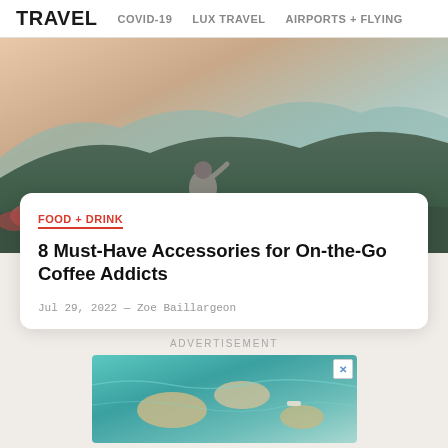TRAVEL   COVID-19   LUX TRAVEL   AIRPORTS + FLYING
[Figure (photo): Person sitting on a mountain hilltop at sunset/golden hour, with lush green mountains and hazy sky in the background]
FOOD + DRINK
8 Must-Have Accessories for On-the-Go Coffee Addicts
Jul 29, 2022 — Zoe Baillargeon
ADVERTISEMENT
[Figure (photo): Aerial view of turquoise ocean water with rocky outcroppings or islands visible from above]